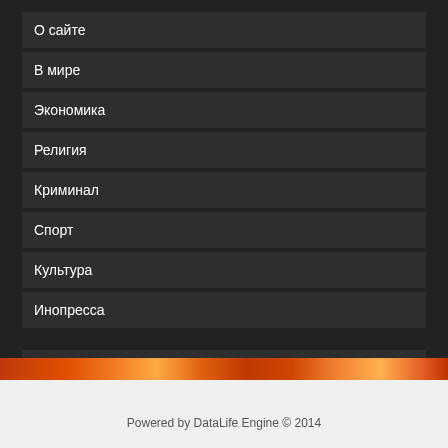О сайте
В мире
Экономика
Религия
Криминал
Спорт
Культура
Инопресса
Все последние новости
Поддержка скрипта
Полная версия сайта
Powered by DataLife Engine © 2014